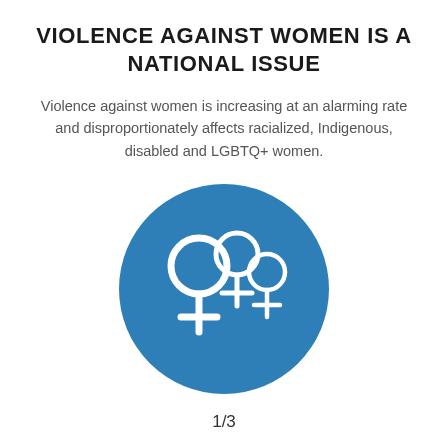VIOLENCE AGAINST WOMEN IS A NATIONAL ISSUE
Violence against women is increasing at an alarming rate and disproportionately affects racialized, Indigenous, disabled and LGBTQ+ women.
[Figure (illustration): Blue circle icon containing three female gender symbols (♀) in white outline style, representing women.]
1/3